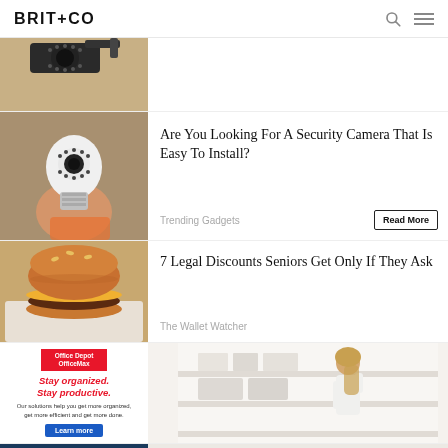BRIT+CO
[Figure (photo): Partial view of a security camera mounted on a wall]
Are You Looking For A Security Camera That Is Easy To Install?
Trending Gadgets
7 Legal Discounts Seniors Get Only If They Ask
The Wallet Watcher
[Figure (photo): Person holding a bulb-shaped security camera]
[Figure (photo): Burger/cheeseburger on paper wrapping]
[Figure (advertisement): Office Depot OfficeMax ad: Stay organized. Stay productive. Our solutions help you get more organized, get more efficient and get more done. Learn more.]
[Figure (photo): Person organizing shelves in a clean white room - part of OfficeMax ad]
[Figure (photo): Partial dark blue image at bottom left]
[Figure (photo): Partial grey/white image at bottom right]